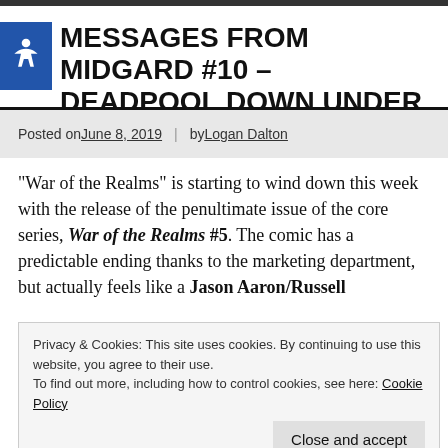MESSAGES FROM MIDGARD #10 – DEADPOOL DOWN UNDER
Posted on June 8, 2019 | by Logan Dalton
“War of the Realms” is starting to wind down this week with the release of the penultimate issue of the core series, War of the Realms #5. The comic has a predictable ending thanks to the marketing department, but actually feels like a Jason Aaron/Russell
Privacy & Cookies: This site uses cookies. By continuing to use this website, you agree to their use.
To find out more, including how to control cookies, see here: Cookie Policy
of road trip hijinks, Greg Pak and Gang Hyuk Lim